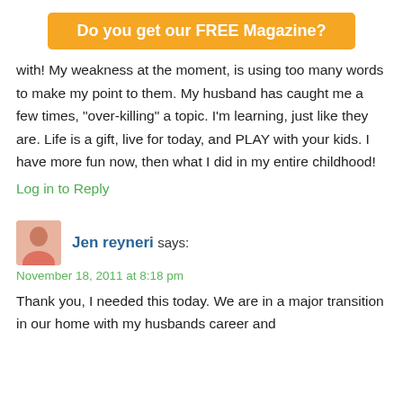Do you get our FREE Magazine?
with! My weakness at the moment, is using too many words to make my point to them. My husband has caught me a few times, "over-killing" a topic. I'm learning, just like they are. Life is a gift, live for today, and PLAY with your kids. I have more fun now, then what I did in my entire childhood!
Log in to Reply
Jen reyneri says:
November 18, 2011 at 8:18 pm
Thank you, I needed this today. We are in a major transition in our home with my husbands career and